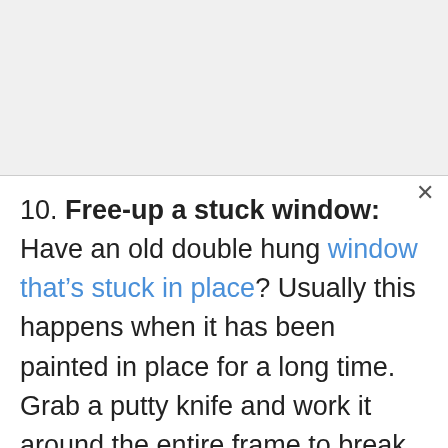10. Free-up a stuck window: Have an old double hung window that's stuck in place? Usually this happens when it has been painted in place for a long time. Grab a putty knife and work it around the entire frame to break the paint seal. If it needs more convincing, take a block of wood and place it on the top of the lower window sash at the corner. Give the block of wood a few downward quick taps with a hammer. This will help break any remaining part of the paint seal you haven't been able to get to with the putty knife and the window